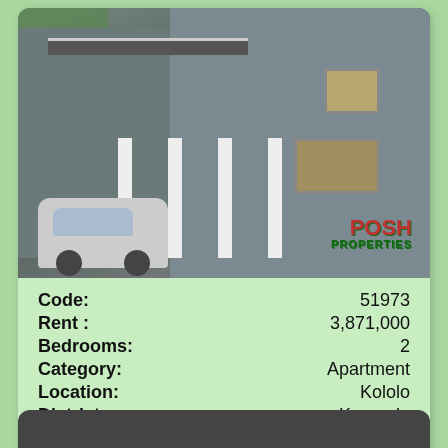[Figure (photo): Exterior photograph of a multi-storey grey apartment building with white pillars, balconies, a car parked in front, and trees in the background. A watermark reads 'POSH PROPERTIES'.]
| Code: | 51973 |
| Rent : | 3,871,000 |
| Bedrooms: | 2 |
| Category: | Apartment |
| Location: | Kololo |
| District: | Kampala |
View Details